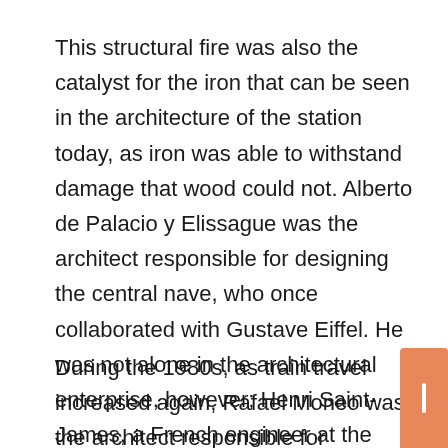This structural fire was also the catalyst for the iron that can be seen in the architecture of the station today, as iron was able to withstand damage that wood could not. Alberto de Palacio y Elissague was the architect responsible for designing the central nave, who once collaborated with Gustave Eiffel. He was not alone in the architectural enterprise, however; Henri Saint-James, a French engineer at the time, was inspired by the Universal Exhibition in Paris for the iconic iron canopy of Atocha.
During the 1980s, as train travel increased again, Rafael Moneo was the architect responsible for